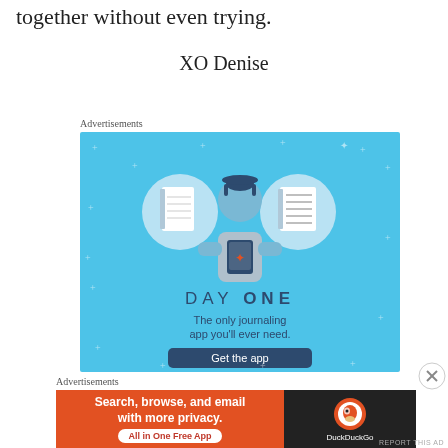together without even trying.
XO Denise
Advertisements
[Figure (illustration): Day One journaling app advertisement: light blue background with sparkles, illustration of a person looking at a phone flanked by two circular icons (notebook and lined paper), text 'DAY ONE', 'The only journaling app you'll ever need.', and a 'Get the app' button.]
Advertisements
[Figure (illustration): DuckDuckGo advertisement: orange left side with text 'Search, browse, and email with more privacy. All in One Free App', black right side with DuckDuckGo duck logo and name.]